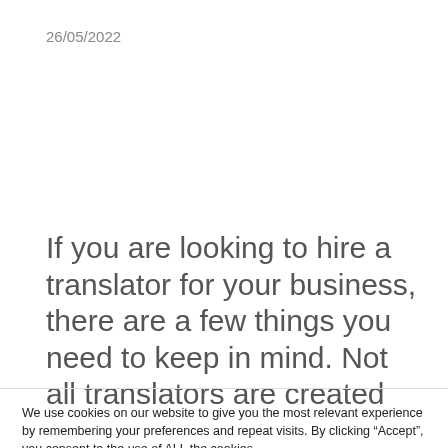26/05/2022
If you are looking to hire a translator for your business, there are a few things you need to keep in mind. Not all translators are created
We use cookies on our website to give you the most relevant experience by remembering your preferences and repeat visits. By clicking “Accept”, you consent to the use of ALL the cookies.
settings
ACCEPT